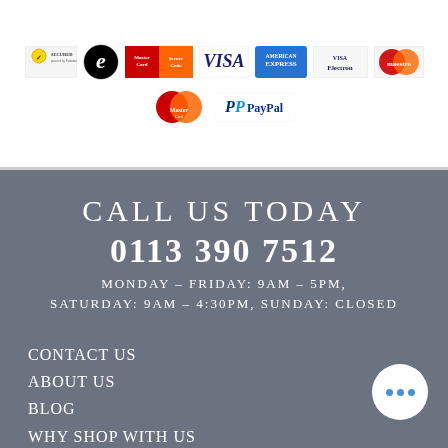[Figure (logo): Row of payment method logos: Norton Secured by Symantec, Econsumer trust mark, MasterCard SecureCode, VISA, American Express, Visa Electron, Maestro]
[Figure (logo): Second row of payment logos: MasterCard, PayPal]
CALL US TODAY
0113 390 7512
MONDAY – FRIDAY: 9AM – 5PM, SATURDAY: 9AM – 4:30PM, SUNDAY: CLOSED
CONTACT US
ABOUT US
BLOG
WHY SHOP WITH US
FAQS
RETURNS POLICY
OUR SHOWROOM